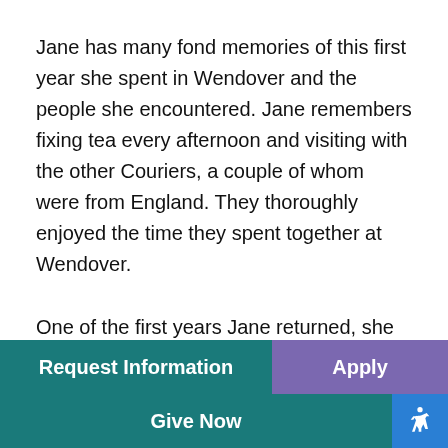Jane has many fond memories of this first year she spent in Wendover and the people she encountered. Jane remembers fixing tea every afternoon and visiting with the other Couriers, a couple of whom were from England. They thoroughly enjoyed the time they spent together at Wendover.
One of the first years Jane returned, she was asked, along with a fellow Courier, to transport a young girl and her mother to the Cincinnati children's hospital. On the way, the young girl's mother began to grow anxious so they decided to stop at St. Joe's in Lexington, which [partially visible text continues]
Request Information | Apply | Give Now | [accessibility icon]